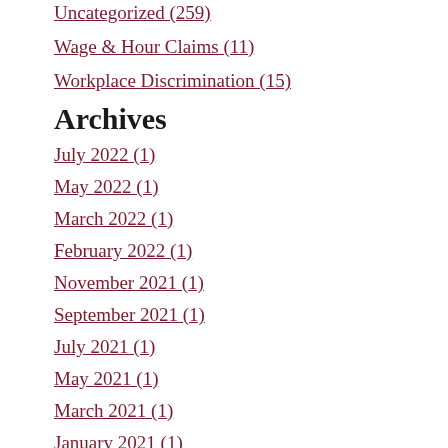Uncategorized (259)
Wage & Hour Claims (11)
Workplace Discrimination (15)
Archives
July 2022 (1)
May 2022 (1)
March 2022 (1)
February 2022 (1)
November 2021 (1)
September 2021 (1)
July 2021 (1)
May 2021 (1)
March 2021 (1)
January 2021 (1)
December 2020 (1)